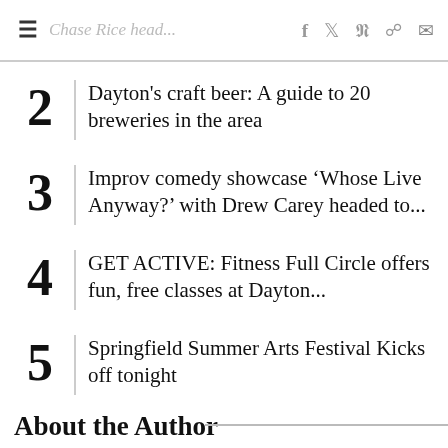Chase Rice heads... f ♥ p reddit mail
2 Dayton's craft beer: A guide to 20 breweries in the area
3 Improv comedy showcase ‘Whose Live Anyway?’ with Drew Carey headed to...
4 GET ACTIVE: Fitness Full Circle offers fun, free classes at Dayton...
5 Springfield Summer Arts Festival Kicks off tonight
About the Author